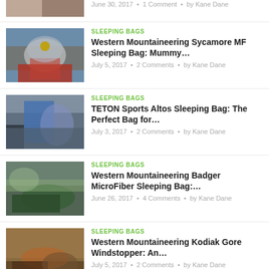June 30, 2017 • 1 Comment • by Kane Dane
SLEEPING BAGS
Western Mountaineering Sycamore MF Sleeping Bag: Mummy…
July 5, 2017 • 2 Comments • by Kane Dane
SLEEPING BAGS
TETON Sports Altos Sleeping Bag: The Perfect Bag for…
July 3, 2017 • 2 Comments • by Kane Dane
SLEEPING BAGS
Western Mountaineering Badger MicroFiber Sleeping Bag:…
June 26, 2017 • 4 Comments • by Kane Dane
SLEEPING BAGS
Western Mountaineering Kodiak Gore Windstopper: An…
July 5, 2017 • 2 Comments • by Kane Dane
SLEEPING BAGS
Western Mountaineering